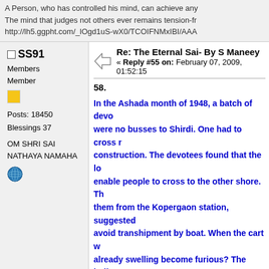A Person, who has controlled his mind, can achieve any...
The mind that judges not others ever remains tension-fr...
http://lh5.ggpht.com/_lOgd1uS-wX0/TCOIFNMxIBI/AAA...
SS91
Members
Member
Posts: 18450
Blessings 37
OM SHRI SAI NATHAYA NAMAHA
Re: The Eternal Sai- By S Maneey
« Reply #55 on: February 07, 2009, 01:52:15
58.
In the Ashada month of 1948, a batch of devo... were no busses to Shirdi. One had to cross r... construction. The devotees found that the lo... enable people to cross to the other shore. Th... them from the Kopergaon station, suggested... avoid transhipment by boat. When the cart w... already swelling become furious? The bulloo... wheels got struck to a boulder. There was no... chanted the name of Sai Baba in chorus and... Suddenly from nowhere a middle aged man ... accord. The cartman removed the boulder an... deftly piloted the cart. Soon after, the rain st... watching from the other shore at the party's ... devotees was so immensely happy, that he t... not there!